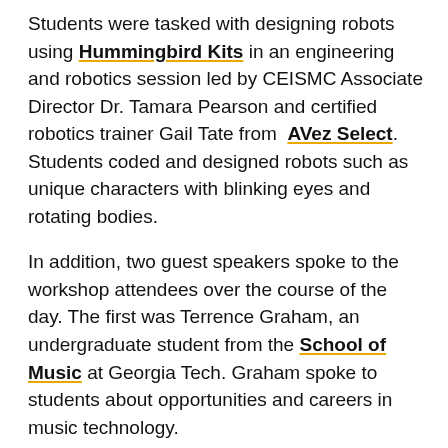Students were tasked with designing robots using Hummingbird Kits in an engineering and robotics session led by CEISMC Associate Director Dr. Tamara Pearson and certified robotics trainer Gail Tate from AVez Select. Students coded and designed robots such as unique characters with blinking eyes and rotating bodies.
In addition, two guest speakers spoke to the workshop attendees over the course of the day. The first was Terrence Graham, an undergraduate student from the School of Music at Georgia Tech. Graham spoke to students about opportunities and careers in music technology.
Later on, students were treated to a visit from Pamela Z, a musician who also served as a judge at the Guthman Competition. Z showed students